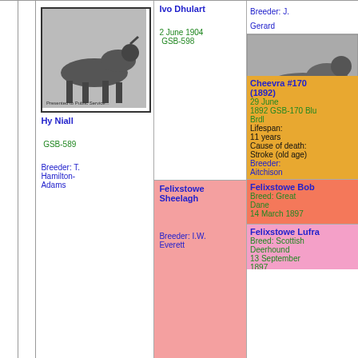[Figure (other): Black and white illustration of a dog (Hy Niall) standing in profile]
Hy Niall
GSB-589
Breeder: T. Hamilton-Adams
Ivo Dhulart
2 June 1904
GSB-598
Breeder: J. Gerard
[Figure (photo): Black and white photo of a dog (Cheevra) standing in profile outdoors]
Cheevra #170 (1892)
29 June
1892 GSB-170 Blu Brdl
Lifespan: 11 years
Cause of death: Stroke (old age)
Breeder: Aitchison
Felixstowe Sheelagh
Breeder: I.W. Everett
Felixstowe Bob
Breed: Great Dane
14 March 1897
Felixstowe Lufra
Breed: Scottish Deerhound
13 September 1897